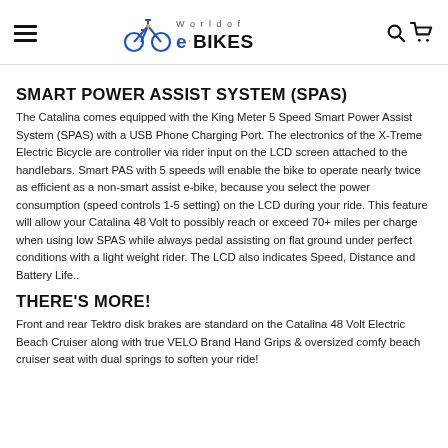World of e·BIKES
SMART POWER ASSIST SYSTEM (SPAS)
The Catalina comes equipped with the King Meter 5 Speed Smart Power Assist System (SPAS) with a USB Phone Charging Port. The electronics of the X-Treme Electric Bicycle are controller via rider input on the LCD screen attached to the handlebars. Smart PAS with 5 speeds will enable the bike to operate nearly twice as efficient as a non-smart assist e-bike, because you select the power consumption (speed controls 1-5 setting) on the LCD during your ride. This feature will allow your Catalina 48 Volt to possibly reach or exceed 70+ miles per charge when using low SPAS while always pedal assisting on flat ground under perfect conditions with a light weight rider. The LCD also indicates Speed, Distance and Battery Life..
THERE'S MORE!
Front and rear Tektro disk brakes are standard on the Catalina 48 Volt Electric Beach Cruiser along with true VELO Brand Hand Grips & oversized comfy beach cruiser seat with dual springs to soften your ride!